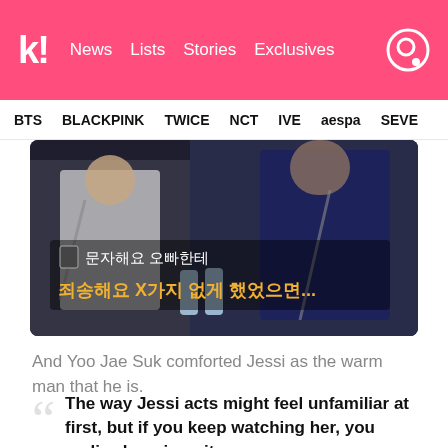k! News Lists Stories Exclusives
BTS BLACKPINK TWICE NCT IVE aespa SEVE
[Figure (screenshot): Video screenshot of people in a car with Korean subtitle text overlay reading: 문자해요 오빠한테 / 죄송해요 X가지 없게 했었으면...]
And Yoo Jae Suk comforted Jessi as the warm man that he is.
The way Jessi acts might feel unfamiliar at first, but if you keep watching her, you realize her sincerity.